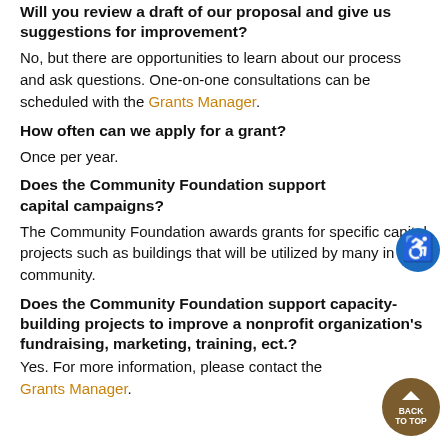Will you review a draft of our proposal and give us suggestions for improvement?
No, but there are opportunities to learn about our process and ask questions. One-on-one consultations can be scheduled with the Grants Manager.
How often can we apply for a grant?
Once per year.
Does the Community Foundation support capital campaigns?
The Community Foundation awards grants for specific capital projects such as buildings that will be utilized by many in the community.
Does the Community Foundation support capacity-building projects to improve a nonprofit organization's fundraising, marketing, training, ect.?
Yes. For more information, please contact the Grants Manager.